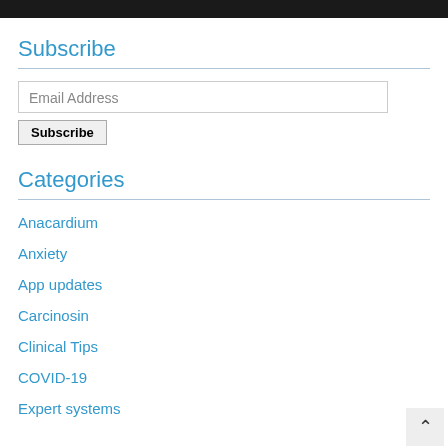Subscribe
Email Address
Subscribe
Categories
Anacardium
Anxiety
App updates
Carcinosin
Clinical Tips
COVID-19
Expert systems